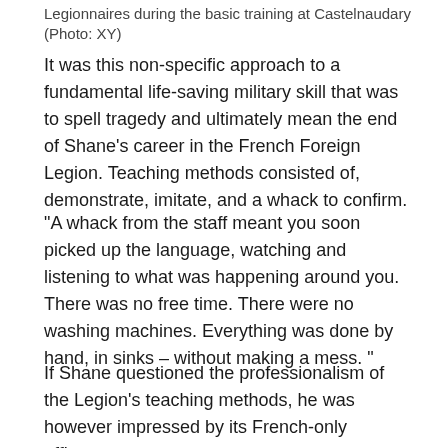Legionnaires during the basic training at Castelnaudary (Photo: XY)
It was this non-specific approach to a fundamental life-saving military skill that was to spell tragedy and ultimately mean the end of Shane’s career in the French Foreign Legion. Teaching methods consisted of, demonstrate, imitate, and a whack to confirm.
“A whack from the staff meant you soon picked up the language, watching and listening to what was happening around you. There was no free time. There were no washing machines. Everything was done by hand, in sinks – without making a mess. ”
If Shane questioned the professionalism of the Legion’s teaching methods, he was however impressed by its French-only officers.